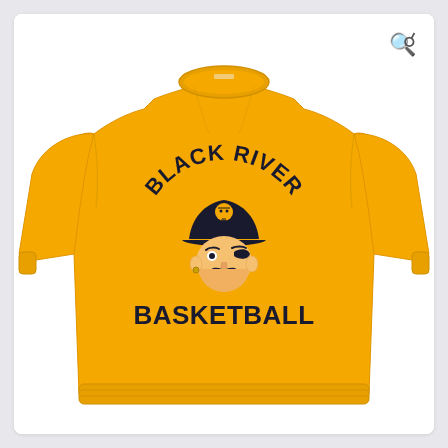[Figure (photo): A gold/yellow crewneck sweatshirt with a black pirate mascot graphic on the chest. The graphic reads 'BLACK RIVER' in an arc at the top and 'BASKETBALL' below the pirate logo. A magnifying glass (search) icon appears in the top-right corner of the product image.]